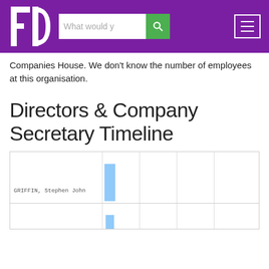FD — What would y [search] [menu]
Companies House. We don't know the number of employees at this organisation.
Directors & Company Secretary Timeline
[Figure (bar-chart): Directors & Company Secretary Timeline chart showing GRIFFIN, Stephen John with a blue bar indicating tenure period]